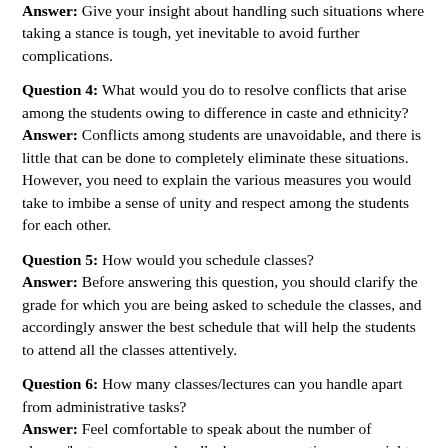Answer: Give your insight about handling such situations where taking a stance is tough, yet inevitable to avoid further complications.
Question 4: What would you do to resolve conflicts that arise among the students owing to difference in caste and ethnicity? Answer: Conflicts among students are unavoidable, and there is little that can be done to completely eliminate these situations. However, you need to explain the various measures you would take to imbibe a sense of unity and respect among the students for each other.
Question 5: How would you schedule classes? Answer: Before answering this question, you should clarify the grade for which you are being asked to schedule the classes, and accordingly answer the best schedule that will help the students to attend all the classes attentively.
Question 6: How many classes/lectures can you handle apart from administrative tasks? Answer: Feel comfortable to speak about the number of classes/lectures you can handle, because sometimes you might